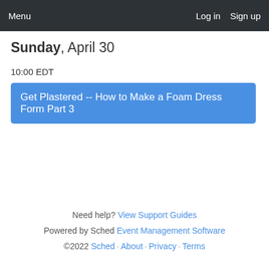Menu   Log in   Sign up
Sunday, April 30
10:00 EDT
Get Plastered -- How to Make a Foam Dress Form Part 3
Need help? View Support Guides
Powered by Sched Event Management Software
©2022 Sched · About · Privacy · Terms